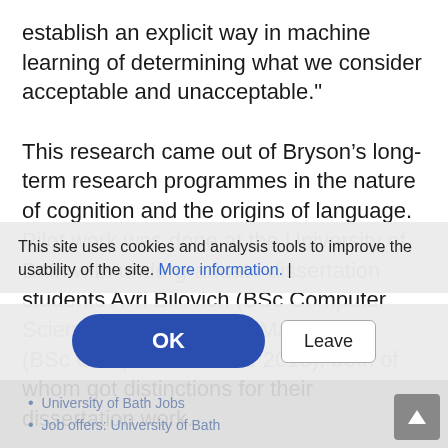establish an explicit way in machine learning of determining what we consider acceptable and unacceptable."
This research came out of Bryson’s long-term research programmes in the nature of cognition and the origins of language.  Pilot work was done at the University of Bath with undergraduate dissertation students Avri Bilovich (BSc Computer Science 2006), and Tim MacFarlane (BSc Computer Science 2013), both of whom got distinctions for their dissertation work.
This site uses cookies and analysis tools to improve the usability of the site. More information. |
OK
Leave
University of Bath Jobs
Job offers: University of Bath